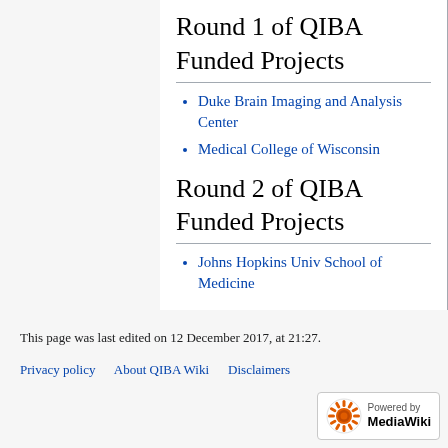Round 1 of QIBA Funded Projects
Duke Brain Imaging and Analysis Center
Medical College of Wisconsin
Round 2 of QIBA Funded Projects
Johns Hopkins Univ School of Medicine
This page was last edited on 12 December 2017, at 21:27.
Privacy policy   About QIBA Wiki   Disclaimers